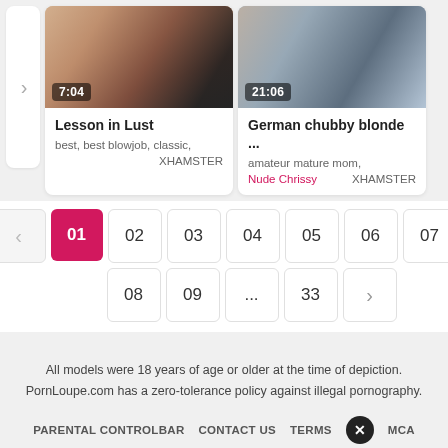[Figure (screenshot): Video thumbnail for 'Lesson in Lust' with duration badge 7:04]
Lesson in Lust
best, best blowjob, classic,
XHAMSTER
[Figure (screenshot): Video thumbnail for 'German chubby blonde ...' with duration badge 21:06]
German chubby blonde ...
amateur mature mom,
Nude Chrissy     XHAMSTER
01 02 03 04 05 06 07 08 09 ... 33 pagination
All models were 18 years of age or older at the time of depiction. PornLoupe.com has a zero-tolerance policy against illegal pornography.
PARENTAL CONTROLBAR   CONTACT US   TERMS   DMCA
© 2022 PornLoupe.com. All rights reserved